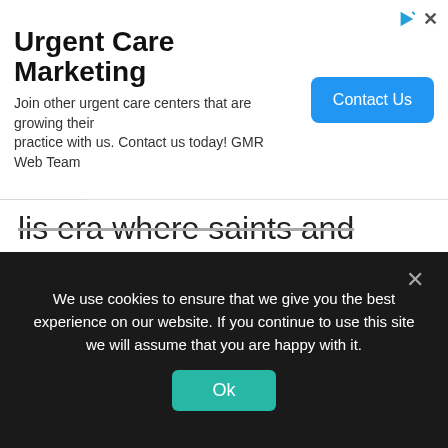[Figure (screenshot): Advertisement banner for Urgent Care Marketing by GMR Web Team with a 'Contact Us' button]
lis era where saints and Emperors didn't appear.
Quasi-saints were very important strategic weapons to the various forces.
The loss of a quasi-saint was equivalent
We use cookies to ensure that we give you the best experience on our website. If you continue to use this site we will assume that you are happy with it.